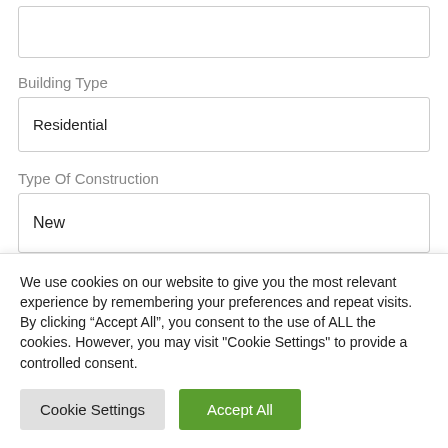Building Type
Residential
Type Of Construction
New
Do You Have Plans
Do You Have Permits
We use cookies on our website to give you the most relevant experience by remembering your preferences and repeat visits. By clicking “Accept All”, you consent to the use of ALL the cookies. However, you may visit "Cookie Settings" to provide a controlled consent.
Cookie Settings
Accept All